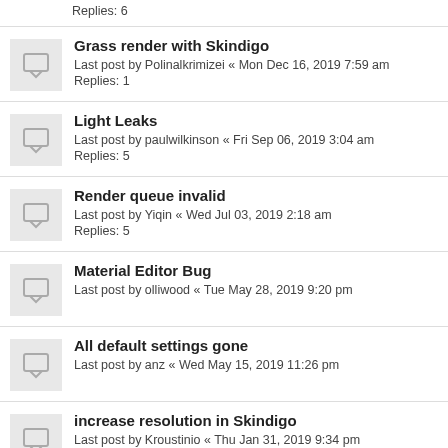Replies: 6
Grass render with Skindigo
Last post by Polinalkrimizei « Mon Dec 16, 2019 7:59 am
Replies: 1
Light Leaks
Last post by paulwilkinson « Fri Sep 06, 2019 3:04 am
Replies: 5
Render queue invalid
Last post by Yiqin « Wed Jul 03, 2019 2:18 am
Replies: 5
Material Editor Bug
Last post by olliwood « Tue May 28, 2019 9:20 pm
All default settings gone
Last post by anz « Wed May 15, 2019 11:26 pm
increase resolution in Skindigo
Last post by Kroustinio « Thu Jan 31, 2019 9:34 pm
Replies: 1